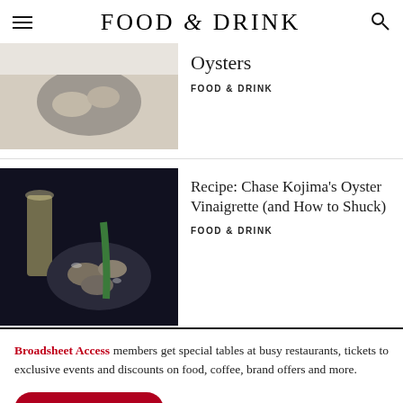FOOD & DRINK
[Figure (photo): Overhead photo of oysters in a tin on a white tablecloth]
Oysters
FOOD & DRINK
[Figure (photo): Photo of oysters on ice served with champagne flute and bottle]
Recipe: Chase Kojima's Oyster Vinaigrette (and How to Shuck)
FOOD & DRINK
Broadsheet Access members get special tables at busy restaurants, tickets to exclusive events and discounts on food, coffee, brand offers and more.
FIND OUT MORE